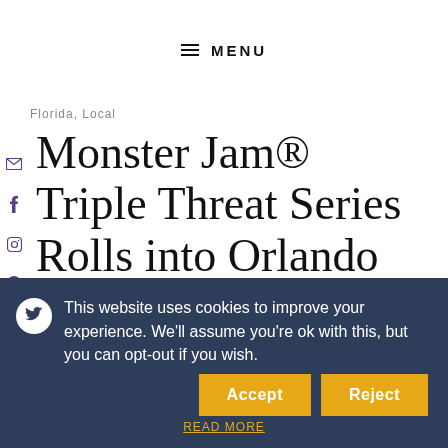≡ MENU
Florida, Local
Monster Jam® Triple Threat Series Rolls into Orlando for the First Time
JULY 19, 2018
This website uses cookies to improve your experience. We'll assume you're ok with this, but you can opt-out if you wish. Accept Reject